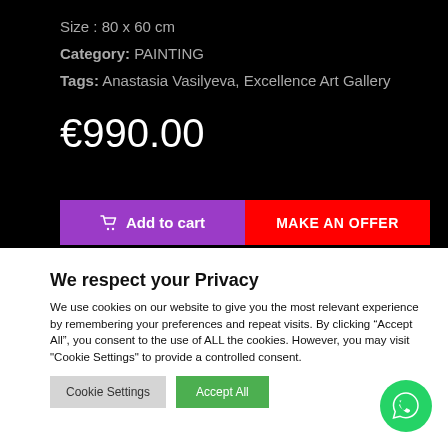Size : 80 x 60 cm
Category: PAINTING
Tags: Anastasia Vasilyeva, Excellence Art Gallery
€990.00
Add to cart
MAKE AN OFFER
We respect your Privacy
We use cookies on our website to give you the most relevant experience by remembering your preferences and repeat visits. By clicking "Accept All", you consent to the use of ALL the cookies. However, you may visit "Cookie Settings" to provide a controlled consent.
Cookie Settings
Accept All